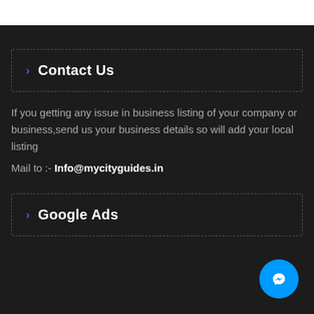Contact Us
If you getting any issue in business listing of your company or business,send us your business details so will add your local listing
Mail to :- Info@mycityguides.in
Google Ads
[Figure (illustration): Facebook Messenger chat button icon, blue circle with white messenger lightning bolt symbol]